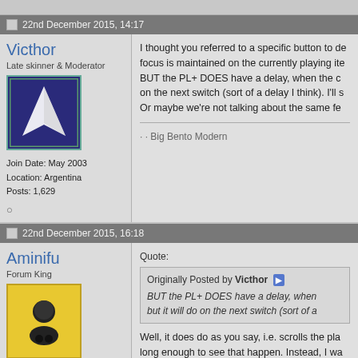22nd December 2015, 14:17
Victhor
Late skinner & Moderator
Join Date: May 2003
Location: Argentina
Posts: 1,629
I thought you referred to a specific button to de focus is maintained on the currently playing ite BUT the PL+ DOES have a delay, when the c on the next switch (sort of a delay I think). I'll s Or maybe we're not talking about the same fe
· · Big Bento Modern
22nd December 2015, 16:18
Aminifu
Forum King
Join Date: Aug 2011
Location: Phoenix, AZ
Posts: 4,847
Quote:
Originally Posted by Victhor
BUT the PL+ DOES have a delay, when but it will do on the next switch (sort of a
Well, it does do as you say, i.e. scrolls the pla long enough to see that happen. Instead, I wa
If you can't remove the delay, that's ok since th
Anyway, the option "Prevent Winamp from scr